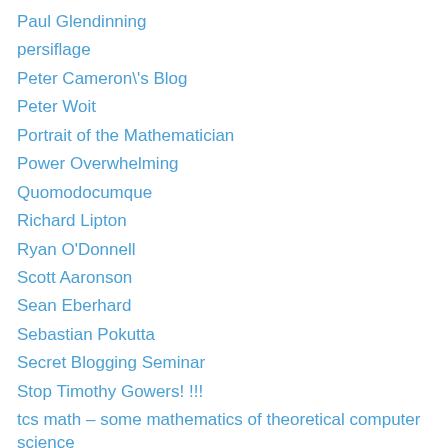Paul Glendinning
persiflage
Peter Cameron\'s Blog
Peter Woit
Portrait of the Mathematician
Power Overwhelming
Quomodocumque
Richard Lipton
Ryan O'Donnell
Scott Aaronson
Sean Eberhard
Sebastian Pokutta
Secret Blogging Seminar
Stop Timothy Gowers! !!!
tcs math – some mathematics of theoretical computer science
Terence Tao
The Accidental Mathematician
The Aperiodical
The n-category café
Theorem of the week